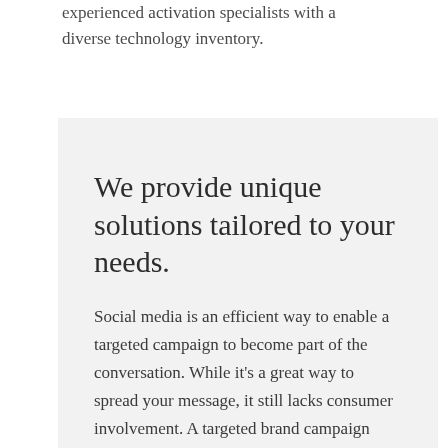experienced activation specialists with a diverse technology inventory.
We provide unique solutions tailored to your needs.
Social media is an efficient way to enable a targeted campaign to become part of the conversation. While it's a great way to spread your message, it still lacks consumer involvement. A targeted brand campaign complete with a tailored marketing activation from NEXTGEN will get your brand talking.